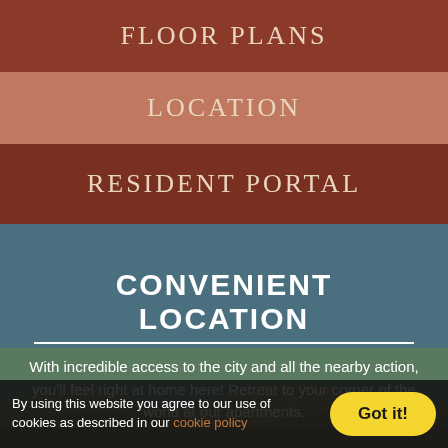FLOOR PLANS
LOCATION
RESIDENT PORTAL
CONVENIENT LOCATION
With incredible access to the city and all the nearby action, you'll feel right at home here! Retreat to your corner of the world at our apartments.
By using this website you agree to our use of cookies as described in our cookie policy.